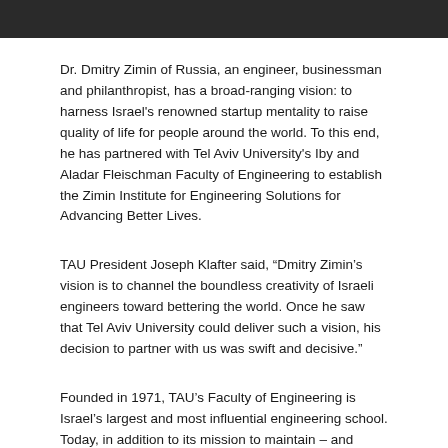[Figure (photo): Partial photo strip at top of page showing people, cropped]
Dr. Dmitry Zimin of Russia, an engineer, businessman and philanthropist, has a broad-ranging vision: to harness Israel's renowned startup mentality to raise quality of life for people around the world. To this end, he has partnered with Tel Aviv University's Iby and Aladar Fleischman Faculty of Engineering to establish the Zimin Institute for Engineering Solutions for Advancing Better Lives.
TAU President Joseph Klafter said, “Dmitry Zimin’s vision is to channel the boundless creativity of Israeli engineers toward bettering the world. Once he saw that Tel Aviv University could deliver such a vision, his decision to partner with us was swift and decisive.”
Founded in 1971, TAU’s Faculty of Engineering is Israel’s largest and most influential engineering school. Today, in addition to its mission to maintain – and sharpen – Israel’s technological edge, the faculty encourages its students and researchers to apply their ingenuity toward generating solutions to the world’s most